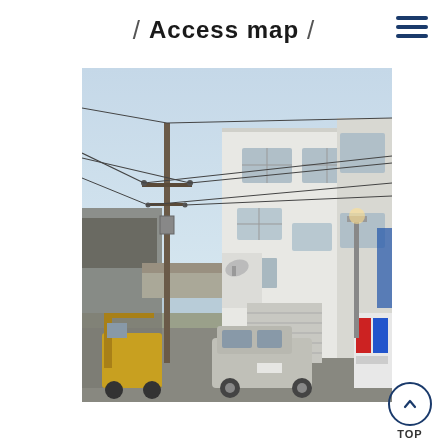/ Access map /
[Figure (photo): Exterior photo of a multi-story white industrial or commercial building in Japan, with utility poles and power lines in the foreground, a van and forklift visible at street level, and a roller shutter garage door on the ground floor.]